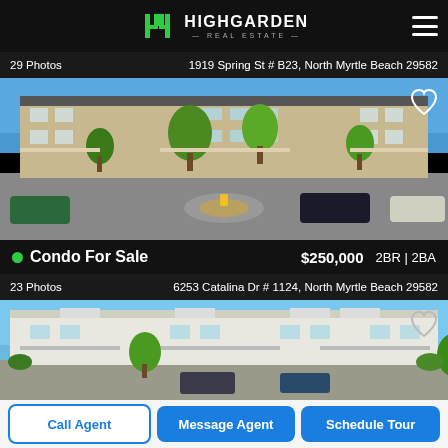[Figure (logo): Highgarden Real Estate logo with green H icon and white text]
29 Photos
1919 Spring St # B23, North Myrtle Beach 29582
[Figure (photo): Exterior photo of a multi-story beige condo building with palm trees and parked cars in parking lot]
Condo For Sale   $250,000   2BR | 2BA
23 Photos
6253 Catalina Dr # 1124, North Myrtle Beach 29582
[Figure (photo): Exterior photo of a white multi-story condo building with blue sky background]
Call Agent
Message Agent
Schedule Tour